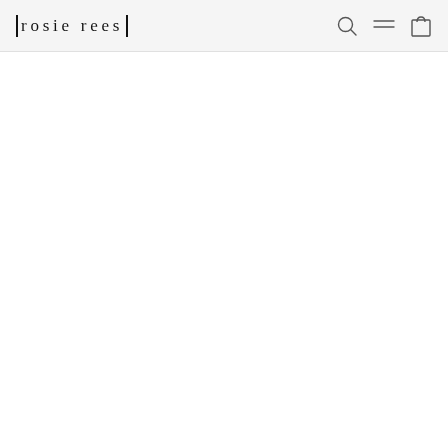| rosie rees |
[Figure (other): Navigation icons: search (magnifying glass), menu (hamburger lines), and cart (shopping bag)]